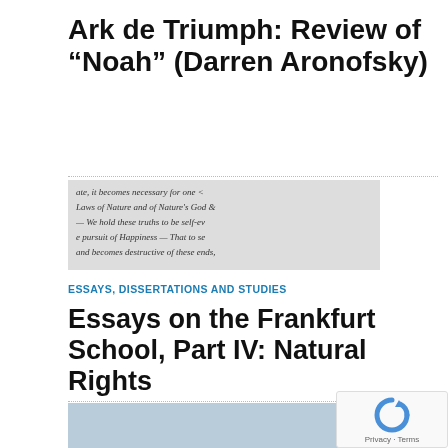Ark de Triumph: Review of “Noah” (Darren Aronofsky)
[Figure (photo): Handwritten cursive text, appears to be excerpt from the Declaration of Independence or similar historical document, on parchment-style background.]
ESSAYS, DISSERTATIONS AND STUDIES
Essays on the Frankfurt School, Part IV: Natural Rights
[Figure (photo): Photo of a person with long dark hair playing an electric guitar, with another person visible in the background, in a performance setting.]